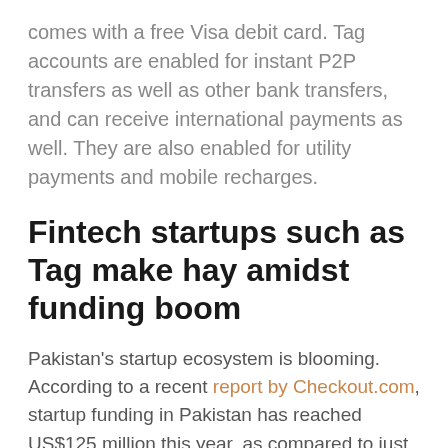comes with a free Visa debit card. Tag accounts are enabled for instant P2P transfers as well as other bank transfers, and can receive international payments as well. They are also enabled for utility payments and mobile recharges.
Fintech startups such as Tag make hay amidst funding boom
Pakistan's startup ecosystem is blooming. According to a recent report by Checkout.com, startup funding in Pakistan has reached US$125 million this year, as compared to just US$8 million five years ago.
Fintech startups in Pakistan saw funding surge in Q1 this year, reaching US$19.3 million. In March this year, SadaPay closed what was previously the largest seed fundraise by a Pakistani startup, at US$7.2